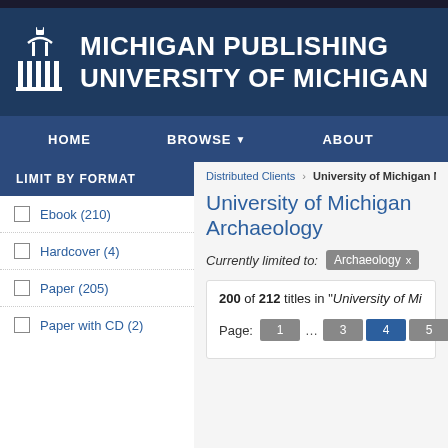[Figure (logo): Michigan Publishing University of Michigan header with logo and navigation bar]
MICHIGAN PUBLISHING UNIVERSITY OF MICHIGAN
LIMIT BY FORMAT
Ebook (210)
Hardcover (4)
Paper (205)
Paper with CD (2)
Distributed Clients > University of Michigan M
University of Michigan Archaeology
Currently limited to: Archaeology x
200 of 212 titles in "University of Mi..."
Page: 1 ... 3 4 5 ... 8 « prev